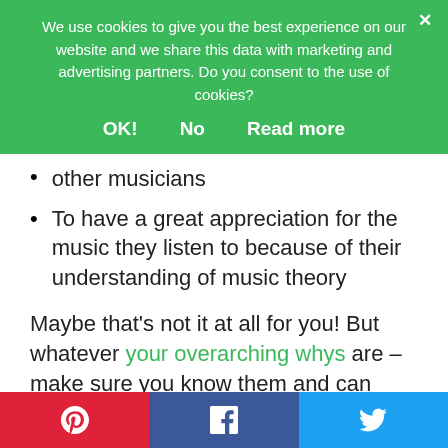We use cookies to give you the best experience on our website and we share this data with marketing and advertising partners. Do you consent to the use of cookies?
OK!   No   Read more
other musicians
To have a great appreciation for the music they listen to because of their understanding of music theory
Maybe that's not it at all for you! But whatever your overarching whys are – make sure you know them and can articulate them to yourself.
[Figure (other): Social share buttons: Pinterest (red), Facebook (blue), Twitter (light blue)]